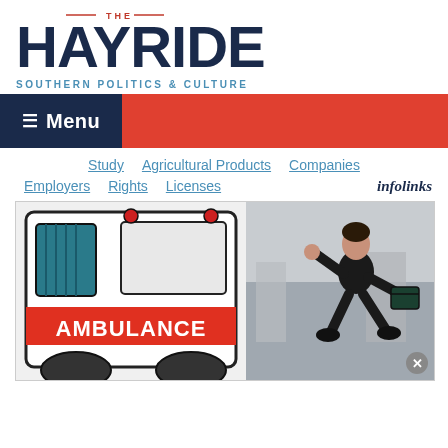[Figure (logo): The Hayride logo: large bold dark navy text 'HAYRIDE' with 'THE' above in small red caps and red arc decoration, tagline 'SOUTHERN POLITICS & CULTURE' in blue below]
≡ Menu
Study
Agricultural Products
Companies
Employers
Rights
Licenses
infolinks
[Figure (illustration): Split composite image: left half shows cartoon/illustrated ambulance with red stripe reading 'AMBULANCE'; right half shows a real photo of a man in a dark suit running while carrying a briefcase]